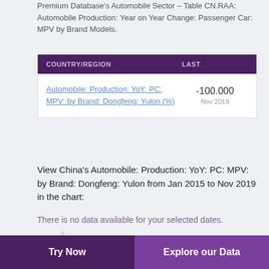Premium Database's Automobile Sector – Table CN.RAA: Automobile Production: Year on Year Change: Passenger Car: MPV by Brand Models.
| COUNTRY/REGION | LAST |
| --- | --- |
| Automobile: Production: YoY: PC: MPV: by Brand: Dongfeng: Yulon (%) | -100.000
Nov 2019 |
View China's Automobile: Production: YoY: PC: MPV: by Brand: Dongfeng: Yulon from Jan 2015 to Nov 2019 in the chart:
There is no data available for your selected dates.
[Figure (bar-chart): Partial bar chart visible at bottom of page, showing purple bar, with a 0 label on y-axis.]
Try Now    Explore our Data